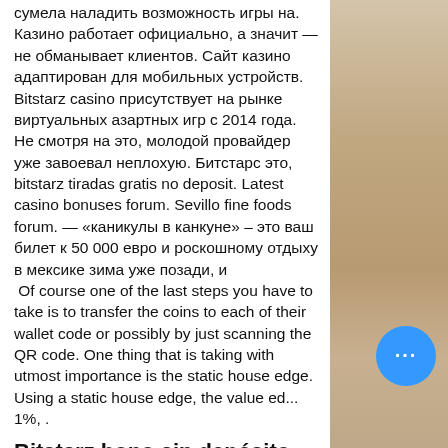сумела наладить возможность игры на. Казино работает официально, а значит — не обманывает клиентов. Сайт казино адаптирован для мобильных устройств. Bitstarz casino присутствует на рынке виртуальных азартных игр с 2014 года. Не смотря на это, молодой провайдер уже завоевал неплохую. Битстарс это, bitstarz tiradas gratis no deposit. Latest casino bonuses forum. Sevillo fine foods forum. — «каникулы в канкуне» – это ваш билет к 50 000 евро и роскошному отдыху в мексике зима уже позади, и
 Of course one of the last steps you have to take is to transfer the coins to each of their wallet code or possibly by just scanning the QR code. One thing that is taking with utmost importance is the static house edge. Using a static house edge, the value ed... 1%, .
Bitstarz bono sin depósito